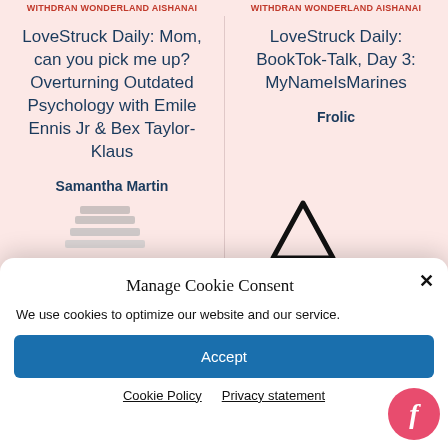Withdran Wonderland Aishanai | Withdran Wonderland Aishanai
LoveStruck Daily: Mom, can you pick me up? Overturning Outdated Psychology with Emile Ennis Jr & Bex Taylor-Klaus
Samantha Martin
LoveStruck Daily: BookTok-Talk, Day 3: MyNameIsMarines
Frolic
Manage Cookie Consent
We use cookies to optimize our website and our service.
Accept
Cookie Policy   Privacy statement